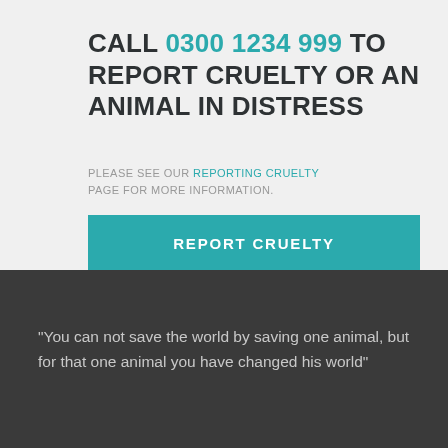CALL 0300 1234 999 TO REPORT CRUELTY OR AN ANIMAL IN DISTRESS
PLEASE SEE OUR REPORTING CRUELTY PAGE FOR MORE INFORMATION.
REPORT CRUELTY
"You can not save the world by saving one animal, but for that one animal you have changed his world"